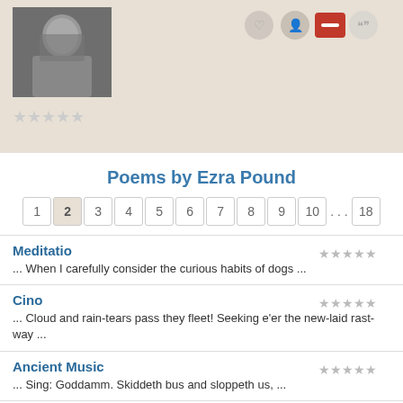[Figure (photo): Black and white portrait photo of Ezra Pound]
★★★★★ (empty star rating)
Poems by Ezra Pound
1 2 3 4 5 6 7 8 9 10 ... 18
Meditatio
... When I carefully consider the curious habits of dogs ...
Cino
... Cloud and rain-tears pass they fleet! Seeking e'er the new-laid rast-way ...
Ancient Music
... Sing: Goddamm. Skiddeth bus and sloppeth us, ...
E.P. Ode Pour L'election De Son Sepulchre